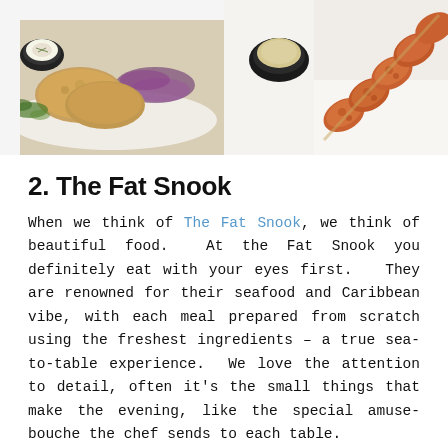[Figure (photo): Two food photos side by side: left shows crab cakes with dipping sauce on a white plate with purple cabbage garnish; right shows fried shrimp skewers with dipping sauce on a white plate.]
2. The Fat Snook
When we think of The Fat Snook, we think of beautiful food. At the Fat Snook you definitely eat with your eyes first. They are renowned for their seafood and Caribbean vibe, with each meal prepared from scratch using the freshest ingredients – a true sea-to-table experience. We love the attention to detail, often it's the small things that make the evening, like the special amuse-bouche the chef sends to each table.